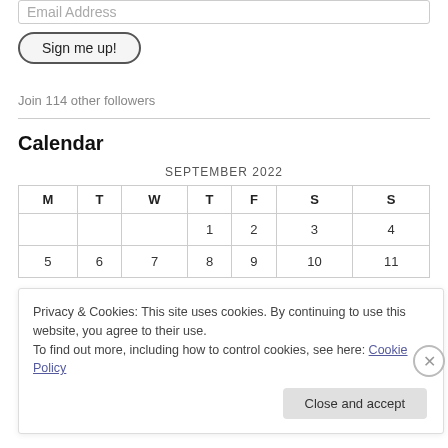Email Address
Sign me up!
Join 114 other followers
Calendar
| M | T | W | T | F | S | S |
| --- | --- | --- | --- | --- | --- | --- |
|  |  |  | 1 | 2 | 3 | 4 |
| 5 | 6 | 7 | 8 | 9 | 10 | 11 |
Privacy & Cookies: This site uses cookies. By continuing to use this website, you agree to their use.
To find out more, including how to control cookies, see here: Cookie Policy
Close and accept